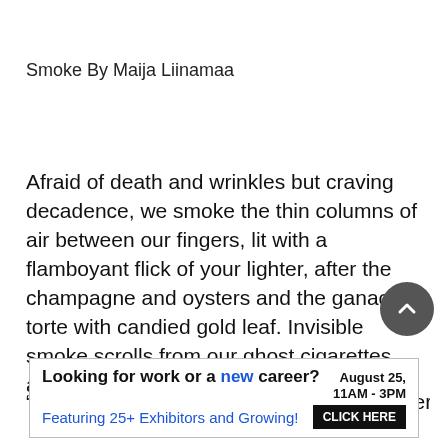Smoke By Maija Liinamaa
Afraid of death and wrinkles but craving decadence, we smoke the thin columns of air between our fingers, lit with a flamboyant flick of your lighter, after the champagne and oysters and the ganache torte with candied gold leaf. Invisible smoke scrolls from our ghost cigarettes and mingles with the restaurant roses.
“I hope, Madame, my cigarette is not bothering you,” we tell
[Figure (screenshot): Advertisement banner: 'Looking for work or a new career? August 25, 11AM - 3PM. Featuring 25+ Exhibitors and Growing! CLICK HERE']